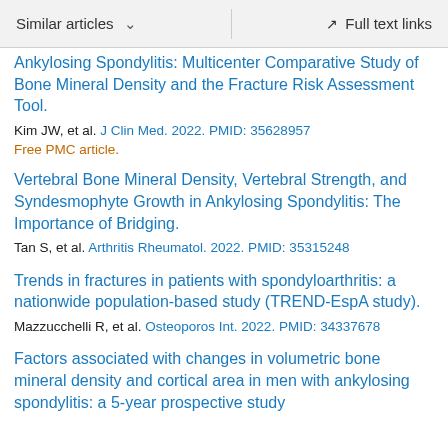Similar articles  ∨   Full text links
Ankylosing Spondylitis: Multicenter Comparative Study of Bone Mineral Density and the Fracture Risk Assessment Tool.
Kim JW, et al. J Clin Med. 2022. PMID: 35628957
Free PMC article.
Vertebral Bone Mineral Density, Vertebral Strength, and Syndesmophyte Growth in Ankylosing Spondylitis: The Importance of Bridging.
Tan S, et al. Arthritis Rheumatol. 2022. PMID: 35315248
Trends in fractures in patients with spondyloarthritis: a nationwide population-based study (TREND-EspA study).
Mazzucchelli R, et al. Osteoporos Int. 2022. PMID: 34337678
Factors associated with changes in volumetric bone mineral density and cortical area in men with ankylosing spondylitis: a 5-year prospective study